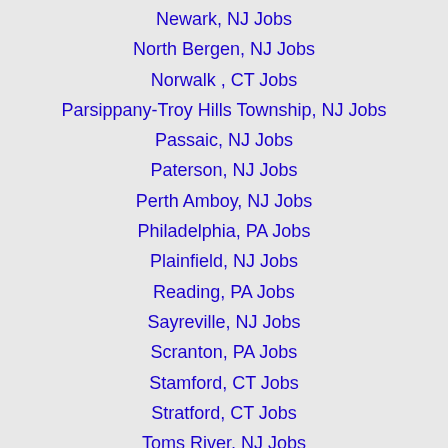Newark, NJ Jobs
North Bergen, NJ Jobs
Norwalk , CT Jobs
Parsippany-Troy Hills Township, NJ Jobs
Passaic, NJ Jobs
Paterson, NJ Jobs
Perth Amboy, NJ Jobs
Philadelphia, PA Jobs
Plainfield, NJ Jobs
Reading, PA Jobs
Sayreville, NJ Jobs
Scranton, PA Jobs
Stamford, CT Jobs
Stratford, CT Jobs
Toms River, NJ Jobs
Trenton, NJ Jobs
Union, NJ Jobs
Union City, NJ Jobs